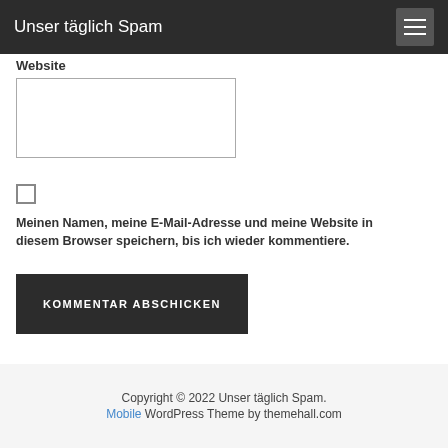Unser täglich Spam
Website
Meinen Namen, meine E-Mail-Adresse und meine Website in diesem Browser speichern, bis ich wieder kommentiere.
KOMMENTAR ABSCHICKEN
Copyright © 2022 Unser täglich Spam. Mobile WordPress Theme by themehall.com